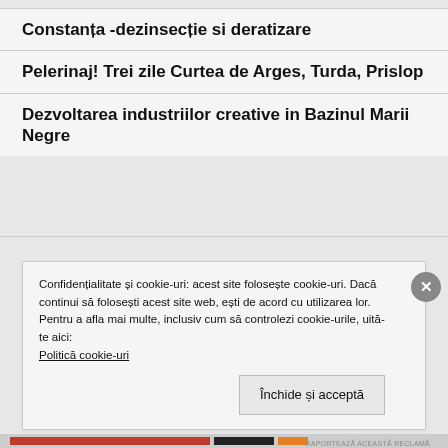Constanța -dezinsecție si deratizare
Pelerinaj! Trei zile Curtea de Arges, Turda, Prislop
Dezvoltarea industriilor creative in Bazinul Marii Negre
Confidențialitate și cookie-uri: acest site folosește cookie-uri. Dacă continui să folosești acest site web, ești de acord cu utilizarea lor.
Pentru a afla mai multe, inclusiv cum să controlezi cookie-urile, uită-te aici:
Politică cookie-uri
Închide și acceptă